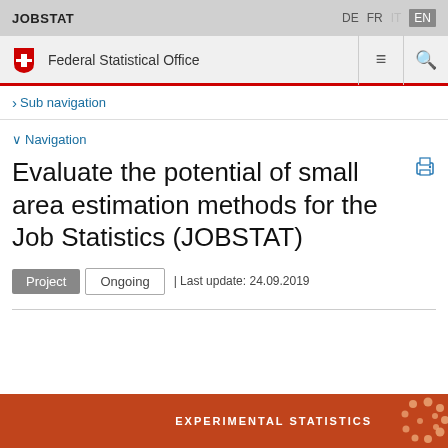JOBSTAT   DE  FR  IT  EN
Federal Statistical Office
› Sub navigation
∨ Navigation
Evaluate the potential of small area estimation methods for the Job Statistics (JOBSTAT)
Project  Ongoing  | Last update: 24.09.2019
EXPERIMENTAL STATISTICS